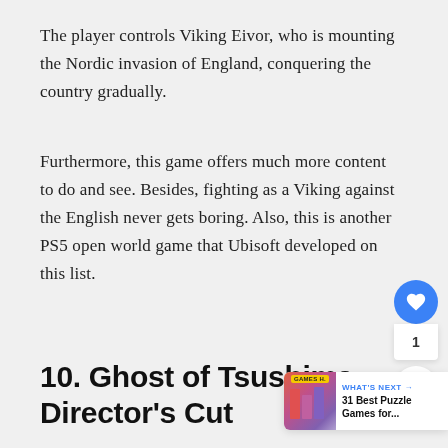The player controls Viking Eivor, who is mounting the Nordic invasion of England, conquering the country gradually.
Furthermore, this game offers much more content to do and see. Besides, fighting as a Viking against the English never gets boring. Also, this is another PS5 open world game that Ubisoft developed on this list.
10. Ghost of Tsushima: Director's Cut